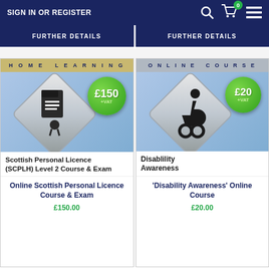SIGN IN OR REGISTER
FURTHER DETAILS | FURTHER DETAILS
[Figure (screenshot): Home Learning course card: Scottish Personal Licence (SCPLH) Level 2 Course & Exam with £150 +VAT price badge on silver diamond icon with document graphic]
[Figure (screenshot): Online Course card: Disability Awareness with £20 +VAT price badge on silver diamond icon with wheelchair accessibility graphic]
Online Scottish Personal Licence Course & Exam
'Disability Awareness' Online Course
£150.00
£20.00